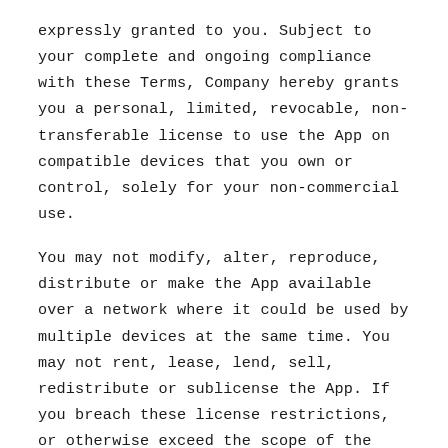expressly granted to you. Subject to your complete and ongoing compliance with these Terms, Company hereby grants you a personal, limited, revocable, non-transferable license to use the App on compatible devices that you own or control, solely for your non-commercial use.
You may not modify, alter, reproduce, distribute or make the App available over a network where it could be used by multiple devices at the same time. You may not rent, lease, lend, sell, redistribute or sublicense the App. If you breach these license restrictions, or otherwise exceed the scope of the license granted in these Terms, you may be subject to prosecution and legal damages, as well as liability for infringement of intellectual property rights. These Terms will govern any updates provided to you by Company that replace and/or supplement the original App, unless the upgrade is accompanied by a separate license in which case the terms of that license will govern.